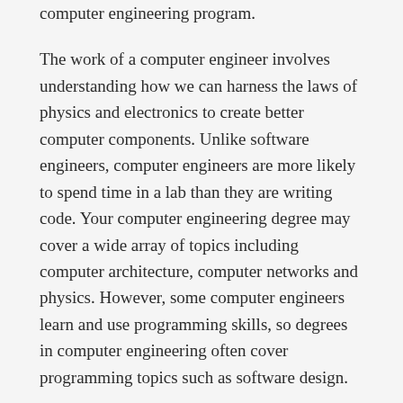computer engineering program.
The work of a computer engineer involves understanding how we can harness the laws of physics and electronics to create better computer components. Unlike software engineers, computer engineers are more likely to spend time in a lab than they are writing code. Your computer engineering degree may cover a wide array of topics including computer architecture, computer networks and physics. However, some computer engineers learn and use programming skills, so degrees in computer engineering often cover programming topics such as software design.
From aerospace to life sciences and mobile devices to robotics, there are a number of different career options for computer engineers. If computer engineering is a field that interests you, spend some time exploring online computer engineering master's programs.
Similarities and Differences Between